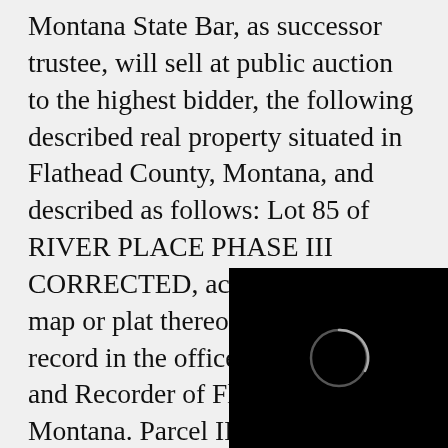Montana State Bar, as successor trustee, will sell at public auction to the highest bidder, the following described real property situated in Flathead County, Montana, and described as follows: Lot 85 of RIVER PLACE PHASE III CORRECTED, according to the map or plat thereof on file and of record in the office of the Clerk and Recorder of Flathead County, Montana. Parcel ID No.: 7434 which has the address of 3057 Sweetgrass La[ne]. Said sale will be m[ade to satisfy an] obligation secured [by and pursuant to the] power of sale conf[erred in the following] indenture/deed of trust: Deed of Trust /
[Figure (photo): Black rectangle overlay covering the lower-right portion of the page, with a partial circular shape (loading spinner or logo) visible in the center-right area of the black box.]